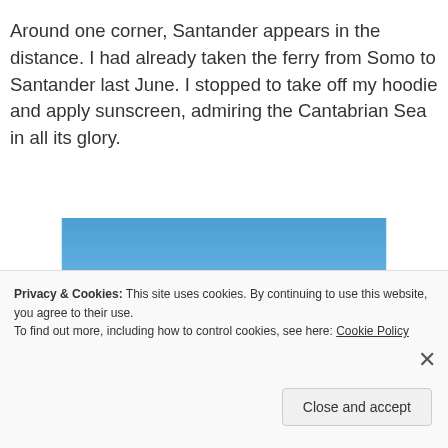Around one corner, Santander appears in the distance. I had already taken the ferry from Somo to Santander last June. I stopped to take off my hoodie and apply sunscreen, admiring the Cantabrian Sea in all its glory.
[Figure (photo): A photograph of a blue sky with light wispy clouds near the horizon, taken near the Cantabrian Sea coastline.]
Privacy & Cookies: This site uses cookies. By continuing to use this website, you agree to their use.
To find out more, including how to control cookies, see here: Cookie Policy